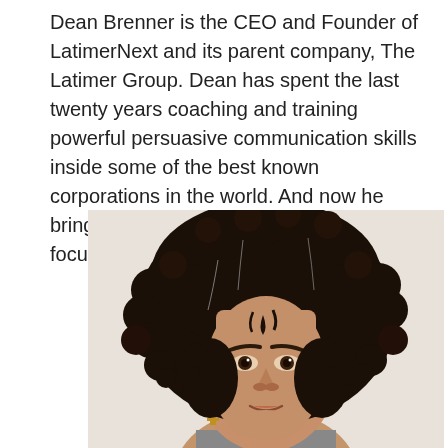Dean Brenner is the CEO and Founder of LatimerNext and its parent company, The Latimer Group. Dean has spent the last twenty years coaching and training powerful persuasive communication skills inside some of the best known corporations in the world. And now he brings that same expertise, energy and focus to LatimerNext.
[Figure (photo): Close-up portrait photo of a woman with curly dark hair, looking slightly upward, with hoop earrings visible, against a light background.]